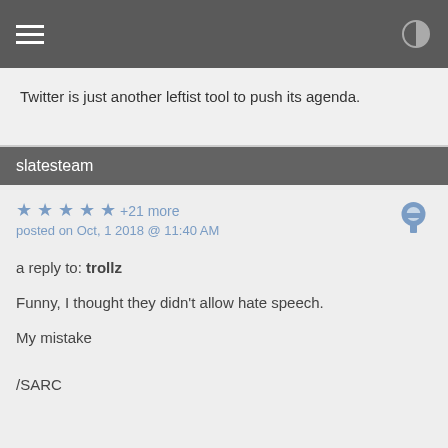Twitter is just another leftist tool to push its agenda.
slatesteam
★ ★ ★ ★ ★ +21 more
posted on Oct, 1 2018 @ 11:40 AM
a reply to: trollz

Funny, I thought they didn't allow hate speech.

My mistake

/SARC